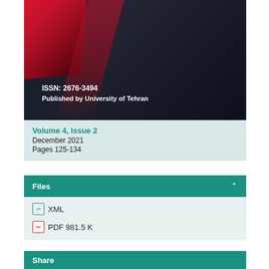[Figure (illustration): Journal cover with geometric red and dark navy shapes, displaying ISSN: 2676-3494 and Published by University of Tehran in white bold text]
Volume 4, Issue 2
December 2021
Pages 125-134
Files
XML
PDF 981.5 K
Share